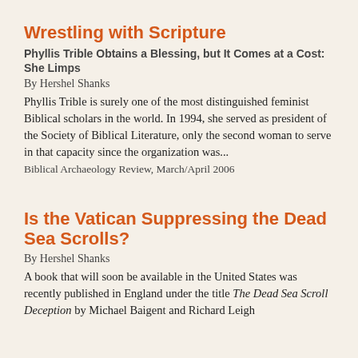Wrestling with Scripture
Phyllis Trible Obtains a Blessing, but It Comes at a Cost: She Limps
By Hershel Shanks
Phyllis Trible is surely one of the most distinguished feminist Biblical scholars in the world. In 1994, she served as president of the Society of Biblical Literature, only the second woman to serve in that capacity since the organization was...
Biblical Archaeology Review, March/April 2006
Is the Vatican Suppressing the Dead Sea Scrolls?
By Hershel Shanks
A book that will soon be available in the United States was recently published in England under the title The Dead Sea Scroll Deception by Michael Baigent and Richard Leigh